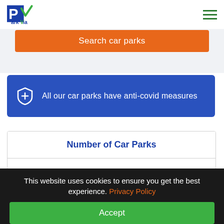ParkVia
Search car parks
All our car parks have anti-covid measures
| Number of Car Parks |
| --- |
| 3 |
This website uses cookies to ensure you get the best experience. Privacy Policy
Accept